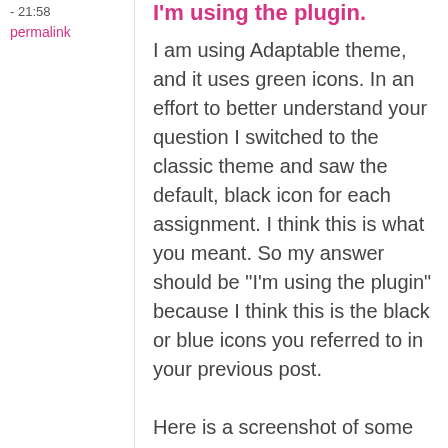- 21:58
permalink
I'm using the plugin.
I am using Adaptable theme, and it uses green icons. In an effort to better understand your question I switched to the classic theme and saw the default, black icon for each assignment. I think this is what you meant. So my answer should be "I'm using the plugin" because I think this is the black or blue icons you referred to in your previous post.
Here is a screenshot of some assigments with the classic theme: